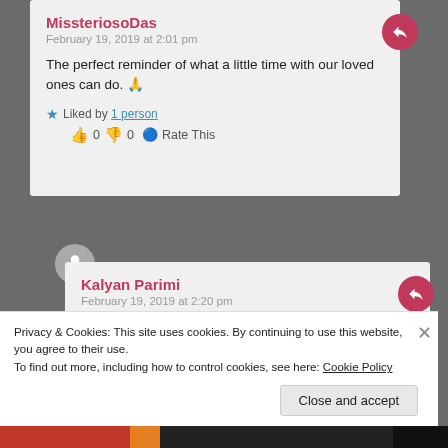MissteriosoDas
February 19, 2019 at 2:01 pm
The perfect reminder of what a little time with our loved ones can do. 🙏
Liked by 1 person  👍 0 👎 0 ℹ Rate This
Kalyan Parimi
February 19, 2019 at 2:20 pm
Yes, something which keeps our mind healthy among the daily stress that we face! Thank you for giving this a
Privacy & Cookies: This site uses cookies. By continuing to use this website, you agree to their use.
To find out more, including how to control cookies, see here: Cookie Policy
Close and accept